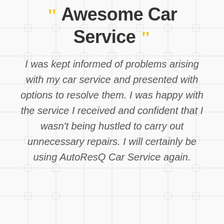Awesome Car Service
I was kept informed of problems arising with my car service and presented with options to resolve them. I was happy with the service I received and confident that I wasn't being hustled to carry out unnecessary repairs. I will certainly be using AutoResQ Car Service again.